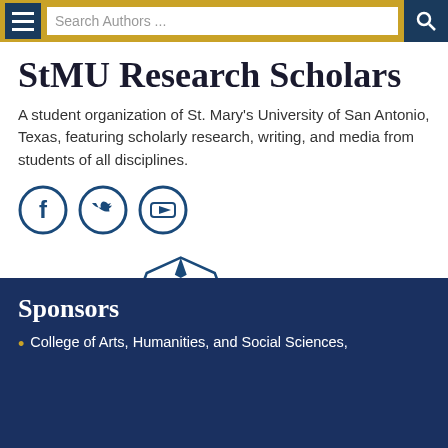Search Authors ...
StMU Research Scholars
A student organization of St. Mary's University of San Antonio, Texas, featuring scholarly research, writing, and media from students of all disciplines.
[Figure (logo): Social media icons: Facebook, Twitter, YouTube circles in dark blue]
[Figure (logo): St. Mary's University logo with crest and text ST. MARY'S UNIVERSITY in dark blue]
Sponsors
College of Arts, Humanities, and Social Sciences,